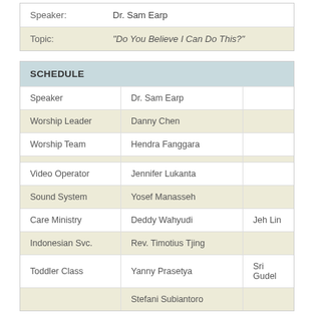| Label | Value |
| --- | --- |
| Speaker: | Dr. Sam Earp |
| Topic: | "Do You Believe I Can Do This?" |
SCHEDULE
| Role | Name 1 | Name 2 |
| --- | --- | --- |
| Speaker | Dr. Sam Earp |  |
| Worship Leader | Danny Chen |  |
| Worship Team | Hendra Fanggara |  |
|  |  |  |
| Video Operator | Jennifer Lukanta |  |
| Sound System | Yosef Manasseh |  |
| Care Ministry | Deddy Wahyudi | Jeh Lin |
| Indonesian Svc. | Rev. Timotius Tjing |  |
| Toddler Class | Yanny Prasetya | Sri Gudel |
|  | Stefani Subiantoro |  |